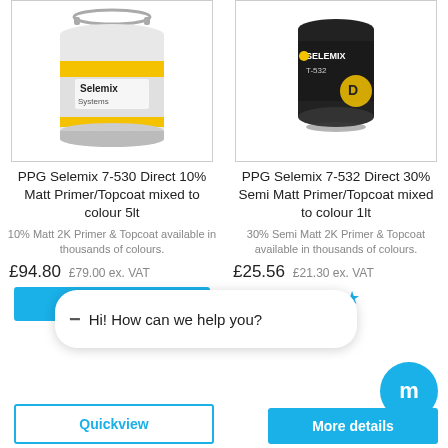[Figure (photo): PPG Selemix 7-530 product can - large white 5lt bucket with yellow stripe and Selemix Systems logo]
[Figure (photo): PPG Selemix 7-532 product can - small dark 1lt tin with Selemix logo and T-532 label]
PPG Selemix 7-530 Direct 10% Matt Primer/Topcoat mixed to colour 5lt
PPG Selemix 7-532 Direct 30% Semi Matt Primer/Topcoat mixed to colour 1lt
10% Matt 2K Primer & Topcoat available in thousands of colours.
30% Semi Matt 2K Primer & Topcoat available in thousands of colours.
£94.80 £79.00 ex. VAT
£25.56 £21.30 ex. VAT
Hi! How can we help you?
More details
Quickview